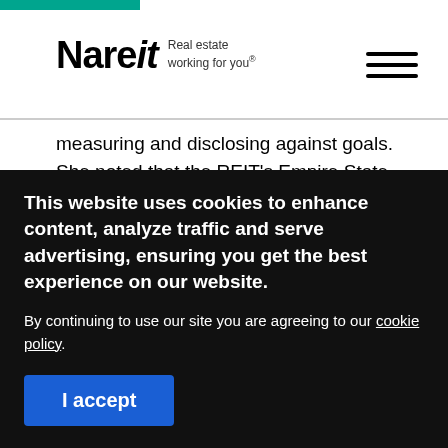Nareit — Real estate working for you.
measuring and disclosing against goals. She noted that the REIT's Empire State Building is a leading example of the business case for deep energy retrofits, having achieved a 40% energy and emissions reduction.
With regard to health, safety, and wellness, Schneider
This website uses cookies to enhance content, analyze traffic and serve advertising, ensuring you get the best experience on our website.

By continuing to use our site you are agreeing to our cookie policy.
I accept